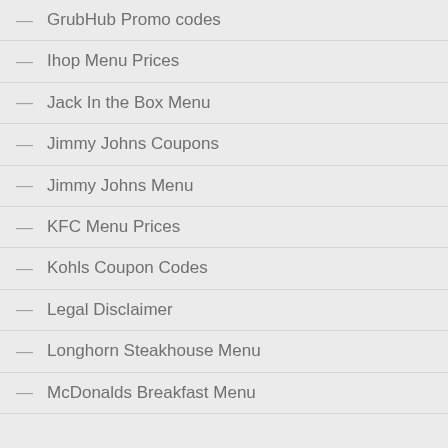GrubHub Promo codes
Ihop Menu Prices
Jack In the Box Menu
Jimmy Johns Coupons
Jimmy Johns Menu
KFC Menu Prices
Kohls Coupon Codes
Legal Disclaimer
Longhorn Steakhouse Menu
McDonalds Breakfast Menu